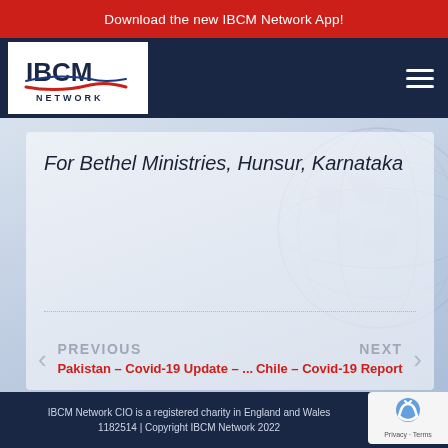Download the new IBCM Network App!
[Figure (logo): IBCM Network logo — white background with blue IBCM letters, red swoosh underline, and 'NETWORK' text below]
For Bethel Ministries, Hunsur, Karnataka
PREVIOUS
Pakistan – Covid-19 Update – ...
NEXT
Chile – Covid-19 Report
IBCM Network CIO is a registered charity in England and Wales 1182514 | Copyright IBCM Network 2022